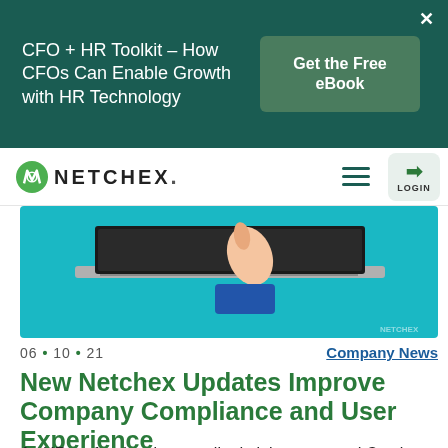[Figure (screenshot): Dark teal advertisement banner for CFO + HR Toolkit eBook with a 'Get the Free eBook' button and close X]
[Figure (logo): Netchex logo with green N icon and hamburger menu and login button]
[Figure (screenshot): Hero image showing a hand pointing at a laptop on a teal background, Netchex branding visible]
06 • 10 • 21
Company News
New Netchex Updates Improve Company Compliance and User Experience
As HR professionals, payroll administrators, and C-suite executives, you already know that our industry changes a lot. From recent legislation and compliance concerns to